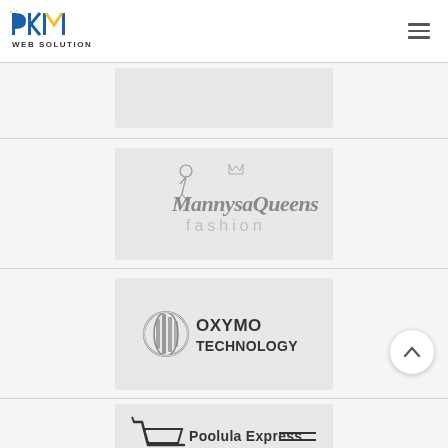[Figure (logo): PKM Web Solution logo — blue and yellow stylized PKM letters above the text WEB SOLUTION]
[Figure (logo): MannysaQueens Fashion logo — stylized cursive script with crown motif in grey tones]
[Figure (logo): Oxymo Technology logo — grey globe/sphere icon with vertical bars beside bold text OXYMO TECHNOLOGY]
[Figure (logo): Poolula Express logo — shopping cart icon beside bold text Poolula Express with double lines]